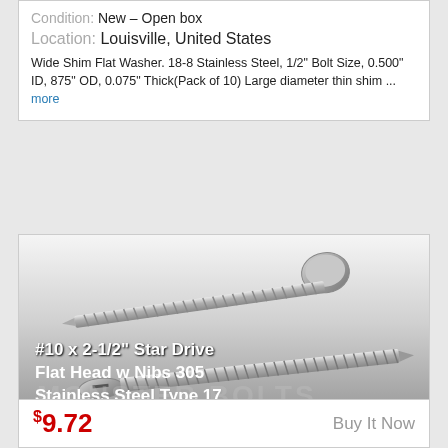Condition: New – Open box
Location: Louisville, United States
Wide Shim Flat Washer. 18-8 Stainless Steel, 1/2" Bolt Size, 0.500" ID, 875" OD, 0.075" Thick(Pack of 10) Large diameter thin shim ... more
[Figure (photo): Two stainless steel deck screws with flat heads and threaded shafts, shown diagonally. Text overlay reads: #10 x 2-1/2" Star Drive Flat Head w Nibs 305 Stainless Steel Type 17 Deck Screws. Monster Bolts watermark visible.]
$9.72   Buy It Now